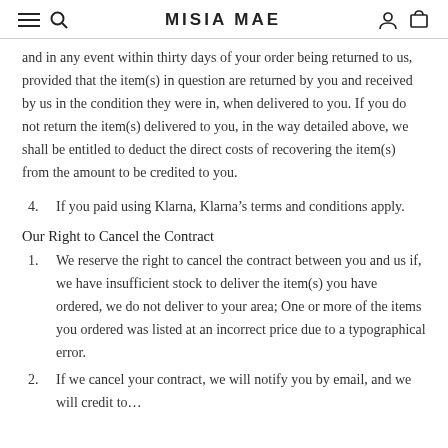Misia Mae
and in any event within thirty days of your order being returned to us, provided that the item(s) in question are returned by you and received by us in the condition they were in, when delivered to you. If you do not return the item(s) delivered to you, in the way detailed above, we shall be entitled to deduct the direct costs of recovering the item(s) from the amount to be credited to you.
4. If you paid using Klarna, Klarna’s terms and conditions apply.
Our Right to Cancel the Contract
1. We reserve the right to cancel the contract between you and us if, we have insufficient stock to deliver the item(s) you have ordered, we do not deliver to your area; One or more of the items you ordered was listed at an incorrect price due to a typographical error.
2. If we cancel your contract, we will notify you by email, and we will credit to…